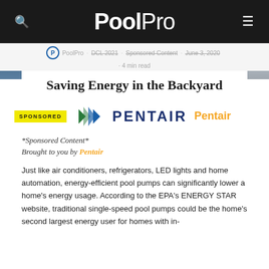PoolPro
PoolPro · DCL 2021 · Sponsored Content · June 3, 2020 · 4 min read
Saving Energy in the Backyard
[Figure (logo): Pentair logo with arrow icon and PENTAIR wordmark in dark navy blue, with 'Pentair' in orange text to the right. Yellow 'SPONSORED' badge on the left.]
*Sponsored Content*
Brought to you by Pentair
Just like air conditioners, refrigerators, LED lights and home automation, energy-efficient pool pumps can significantly lower a home's energy usage. According to the EPA's ENERGY STAR website, traditional single-speed pool pumps could be the home's second largest energy user for homes with in-